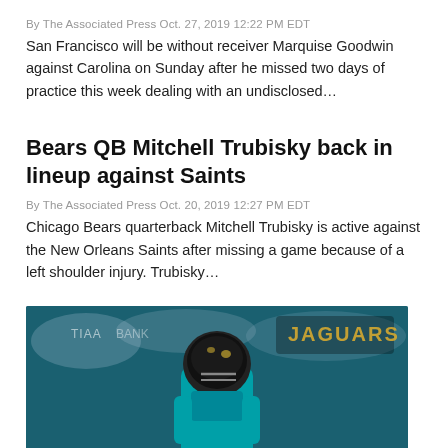By The Associated Press Oct. 27, 2019 12:22 PM EDT
San Francisco will be without receiver Marquise Goodwin against Carolina on Sunday after he missed two days of practice this week dealing with an undisclosed…
Bears QB Mitchell Trubisky back in lineup against Saints
By The Associated Press Oct. 20, 2019 12:27 PM EDT
Chicago Bears quarterback Mitchell Trubisky is active against the New Orleans Saints after missing a game because of a left shoulder injury. Trubisky…
[Figure (photo): Jacksonville Jaguars player in teal uniform and black helmet on field, blurred crowd and Jaguars logo banner in background]